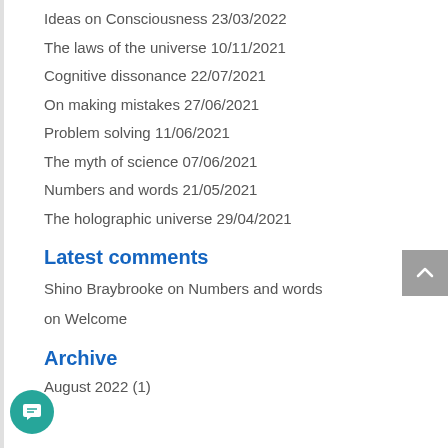Ideas on Consciousness 23/03/2022
The laws of the universe 10/11/2021
Cognitive dissonance 22/07/2021
On making mistakes 27/06/2021
Problem solving 11/06/2021
The myth of science 07/06/2021
Numbers and words 21/05/2021
The holographic universe 29/04/2021
Latest comments
Shino Braybrooke on Numbers and words
on Welcome
Archive
August 2022 (1)